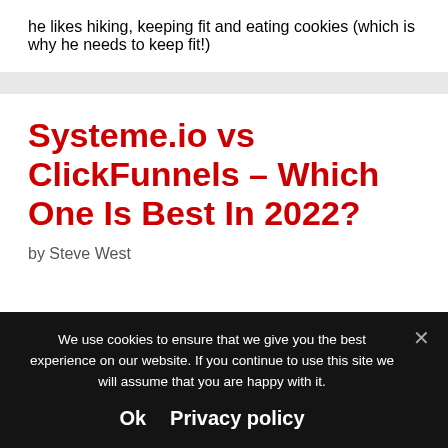he likes hiking, keeping fit and eating cookies (which is why he needs to keep fit!)
Systeme.io vs ClickFunnels – Which One Is Best In 2022?
by Steve West
We use cookies to ensure that we give you the best experience on our website. If you continue to use this site we will assume that you are happy with it.
Ok   Privacy policy